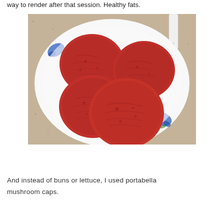way to render after that session. Healthy fats.
[Figure (photo): Four raw hamburger patties on a white plate with blue floral pattern, sitting on a granite countertop]
And instead of buns or lettuce, I used portabella mushroom caps.